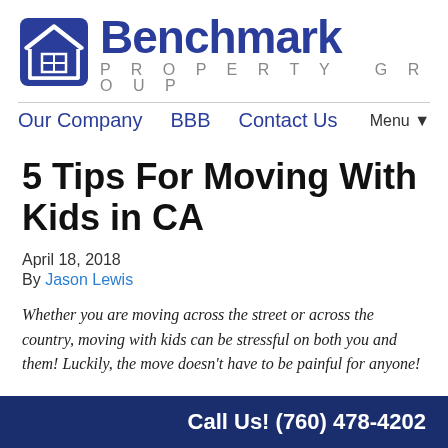[Figure (logo): Benchmark Property Group logo with house icon and company name]
Our Company  BBB  Contact Us  Menu▼
5 Tips For Moving With Kids in CA
April 18, 2018
By Jason Lewis
Whether you are moving across the street or across the country, moving with kids can be stressful on both you and them! Luckily, the move doesn't have to be painful for anyone!
Call Us! (760) 478-4202